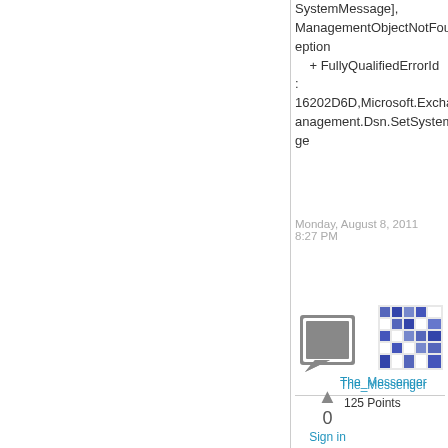SystemMessage], ManagementObjectNotFoundException
    + FullyQualifiedErrorId : 16202D6D,Microsoft.Exchange.Management.Dsn.SetSystemMessage
Monday, August 8, 2011 8:27 PM
[Figure (illustration): User avatar with blue and white mosaic/puzzle pattern]
The_Messenger  125 Points
[Figure (illustration): Reply/comment icon - gray square with chat bubble]
0
Sign in